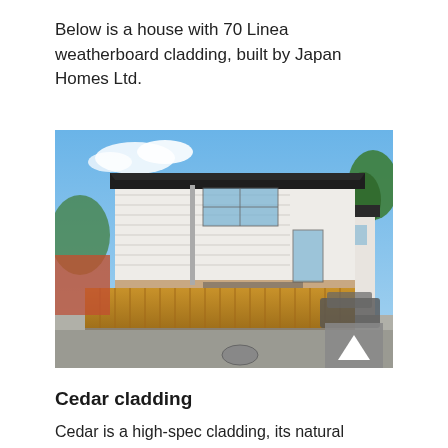Below is a house with 70 Linea weatherboard cladding, built by Japan Homes Ltd.
[Figure (photo): Exterior photograph of a two-storey house with white Linea weatherboard cladding on upper level and brick base, with a wooden fence in the foreground and blue sky background.]
Cedar cladding
Cedar is a high-spec cladding, its natural